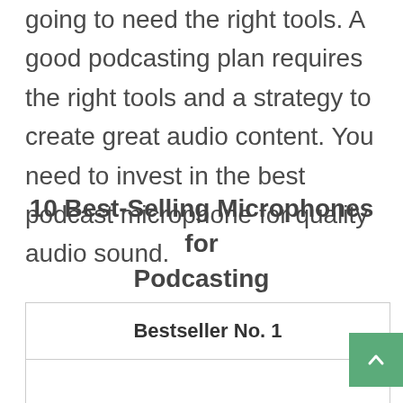going to need the right tools. A good podcasting plan requires the right tools and a strategy to create great audio content. You need to invest in the best podcast microphone for quality audio sound.
10 Best-Selling Microphones for Podcasting
| Bestseller No. 1 |
| --- |
|  |